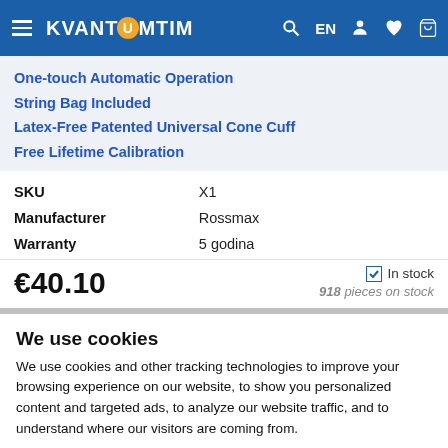KVANTUMTIM
One-touch Automatic Operation
String Bag Included
Latex-Free Patented Universal Cone Cuff
Free Lifetime Calibration
|  |  |
| --- | --- |
| SKU | X1 |
| Manufacturer | Rossmax |
| Warranty | 5 godina |
€40.10   ☑ In stock   918 pieces on stock
We use cookies
We use cookies and other tracking technologies to improve your browsing experience on our website, to show you personalized content and targeted ads, to analyze our website traffic, and to understand where our visitors are coming from.
I agree
I decline